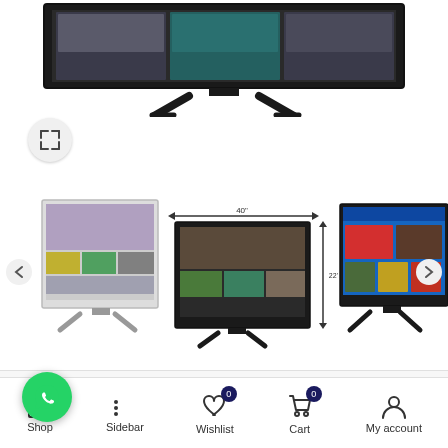[Figure (photo): Smart TV product image shown at top of product page with TV stand visible]
[Figure (photo): Three smart TV thumbnail images in a carousel: left shows content grid screenshot, middle shows TV with dimension arrows, right shows TV with blue interface]
Home / Smart TVs
[Figure (logo): WhatsApp floating action button (green circle with phone icon)]
Shop | Sidebar | Wishlist (0) | Cart (0) | My account